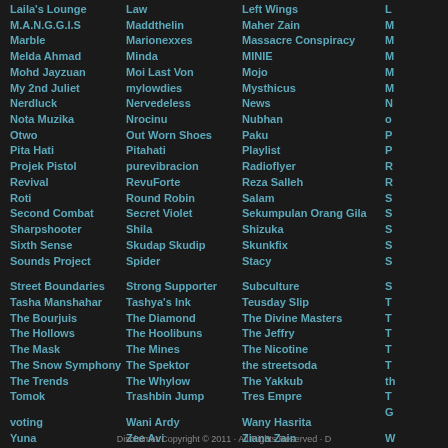Laila's Lounge | Law | Left Wings | L...
M.A.N.G.G.I.S | Maddthelin | Maher Zain | M...
Marble | Marionexxes | Massacre Conspiracy | M...
Melda Ahmad | Minda | MINIE | M...
Mohd Jayzuan | Moi Last Von | Mojo | M...
My 2nd Juliet | mylowdies | Mysthicus | M...
Nerdluck | Nervedeless | News | N...
Nota Muzika | Nrocinu | Nubhan | o...
Otwo | Out Worn Shoes | Paku | P...
Pita Hati | Pitahati | Playlist | P...
Projek Pistol | purevibracion | Radioflyer | R...
Revival | RevuForte | Reza Salleh | R...
Roti | Round Robin | Salam | S...
Second Combat | Secret Violet | Sekumpulan Orang Gila | S...
Sharpshooter | Shila | Shizuka | S...
Sixth Sense | Skudap Skudip | Skunkfix | S...
Sounds Project | Spider | Stacy | S...
Street Boundaries | Strong Supporter | Subculture | S...
Tasha Manshahar | Tashya's Ink | Teusday Slip | T...
The Bourjuis | The Diamond | The Divine Masters | T...
The Hollows | The Hoolibuns | The Jeffry | T...
The Mask | The Mines | The Nicotine | T...
The Snow Symphony | The Spektor | the streetsoda | T...
The Trends | The Whylow | The Yakkub | th...
Tomok | Trashbin Jump | Tres Empre | T... G...
voting | Wani Ardy | Wany Hasrita | W...
Yuna | Zee Avi | Ziana Zain
Disclaimer Copyright © 2011 · All Rights Reserved · D...